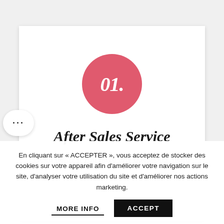[Figure (infographic): Pink circle with bold italic text '01.' centered inside, representing step number one in an infographic card layout]
After Sales Service
Need help? If you have any questions, need
En cliquant sur « ACCEPTER », vous acceptez de stocker des cookies sur votre appareil afin d'améliorer votre navigation sur le site, d'analyser votre utilisation du site et d'améliorer nos actions marketing.
MORE INFO
ACCEPT